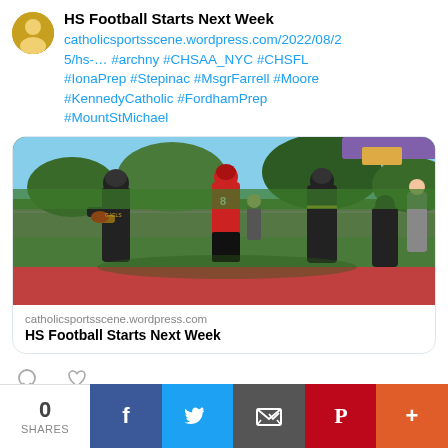HS Football Starts Next Week
catholicsportsscene.wordpress.com/2022/08/25/hs-… #archny #CHSAA_NYC #CHSFL #IonaPrep #Stepinac #MsgrFarrell #Moore #KennedyCatholic #FordhamPrep #MountStMichael
[Figure (photo): Football game action photo showing players in GAELS uniforms (dark with gold) competing against a player in red jersey number 8, outdoors on a football field]
catholicsportsscene.wordpress.com
HS Football Starts Next Week
[Figure (infographic): Social share bar with 0 SHARES count and buttons for Facebook, Twitter, Email, Pinterest, and More]